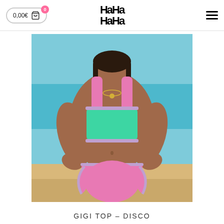0,00€  0  [HaHa logo]  [menu icon]
[Figure (photo): Woman on a beach wearing a pink and mint green bikini set. The top is a square-neck mint/teal bralette with pink straps and trim, and the bottom is high-cut pink bikini bottoms with decorative trim. She is posing with hands on hips against a blue ocean background.]
GIGI TOP – DISCO